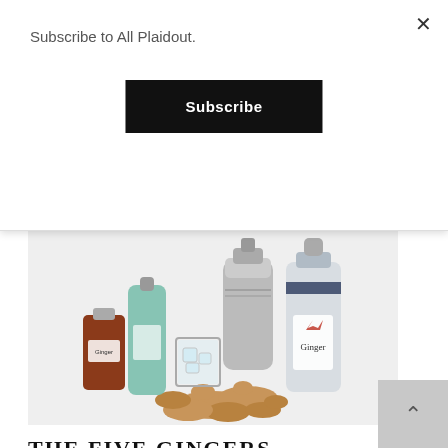Subscribe to All Plaidout.
Subscribe
lot of trouble, mister.
[Figure (illustration): Illustration of ginger-themed bar items: a small brown glass bottle labeled 'Ginger', a teal bottle, a cocktail shaker, a rocks glass with ice, a tall gin bottle labeled 'Ginger' with a crown logo, and fresh ginger root pieces scattered in front, all on a light gray background.]
THE FIVE GINGERS
The King's Ginger has become one of my favorite bar mainstays. The bracing ginger flavor fills in a gin and tonic with